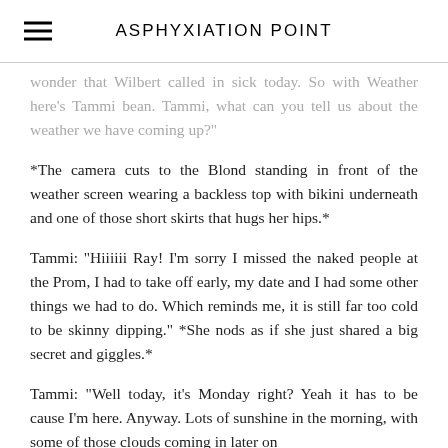ASPHYXIATION POINT
wonder that Wilbert called in sick today. So with Weather here's Tammi bean. Tammi, what can you tell us about the weather we have coming up?"
*The camera cuts to the Blond standing in front of the weather screen wearing a backless top with bikini underneath and one of those short skirts that hugs her hips.*
Tammi: "Hiiiiii Ray! I'm sorry I missed the naked people at the Prom, I had to take off early, my date and I had some other things we had to do. Which reminds me, it is still far too cold to be skinny dipping." *She nods as if she just shared a big secret and giggles.*
Tammi: "Well today, it's Monday right? Yeah it has to be cause I'm here. Anyway. Lots of sunshine in the morning, with some of those clouds coming in later on